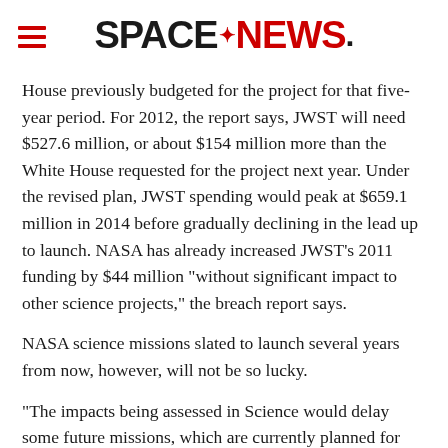SPACENEWS.
House previously budgeted for the project for that five-year period. For 2012, the report says, JWST will need $527.6 million, or about $154 million more than the White House requested for the project next year. Under the revised plan, JWST spending would peak at $659.1 million in 2014 before gradually declining in the lead up to launch. NASA has already increased JWST’s 2011 funding by $44 million “without significant impact to other science projects,” the breach report says.
NASA science missions slated to launch several years from now, however, will not be so lucky.
“The impacts being assessed in Science would delay some future missions, which are currently planned for